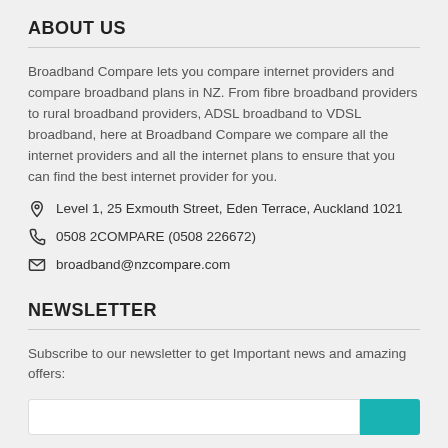ABOUT US
Broadband Compare lets you compare internet providers and compare broadband plans in NZ. From fibre broadband providers to rural broadband providers, ADSL broadband to VDSL broadband, here at Broadband Compare we compare all the internet providers and all the internet plans to ensure that you can find the best internet provider for you.
Level 1, 25 Exmouth Street, Eden Terrace, Auckland 1021
0508 2COMPARE (0508 226672)
broadband@nzcompare.com
NEWSLETTER
Subscribe to our newsletter to get Important news and amazing offers: